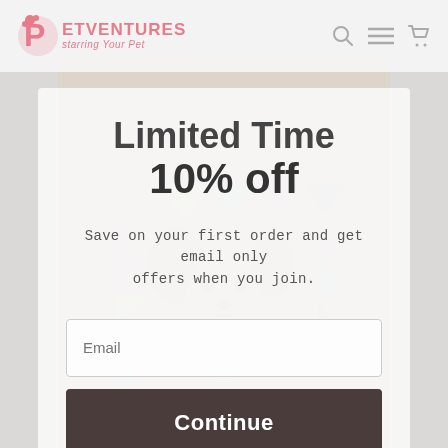[Figure (illustration): Background showing a wooden panel with a stylized pop-art illustration of a Chihuahua dog surrounded by colorful geometric shapes (triangles in pink, yellow, teal, dark gray). The overall page has a gray overlay.]
PETVENTURES starring Your Pet
Limited Time
10% off
Save on your first order and get email only offers when you join.
Email
Continue